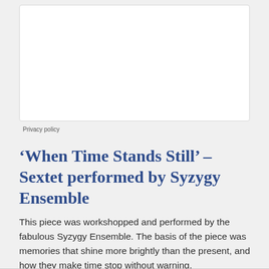[Figure (other): White rectangular box with light border — possibly a form or media embed area]
Privacy policy
‘When Time Stands Still’ – Sextet performed by Syzygy Ensemble
This piece was workshopped and performed by the fabulous Syzygy Ensemble. The basis of the piece was memories that shine more brightly than the present, and how they make time stop without warning.